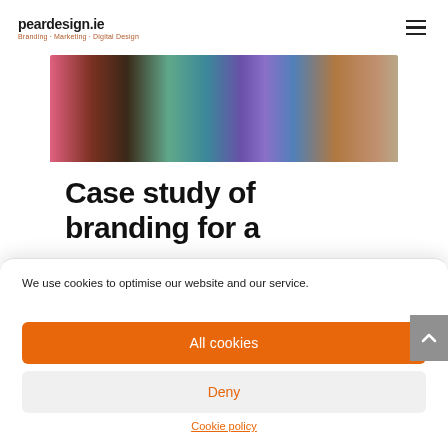peardesign.ie
Branding · Marketing · Digital Design
[Figure (photo): Colorful painted wooden planks/pencils arranged diagonally, showing vivid blues, teals, pinks, browns and earth tones]
Case study of branding for a
We use cookies to optimise our website and our service.
All cookies
Deny
Cookie policy